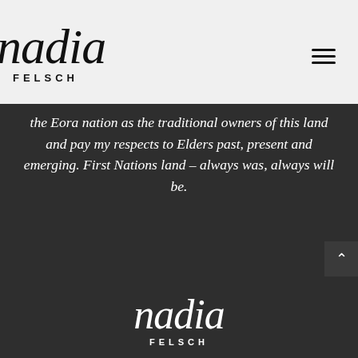[Figure (logo): Nadia Felsch logo in cursive script with 'FELSCH' in spaced capitals below, black on light grey background]
the Eora nation as the traditional owners of this land and pay my respects to Elders past, present and emerging. First Nations land – always was, always will be.
[Figure (logo): Nadia Felsch logo in cursive script with 'FELSCH' in spaced capitals below, white on dark background, in footer]